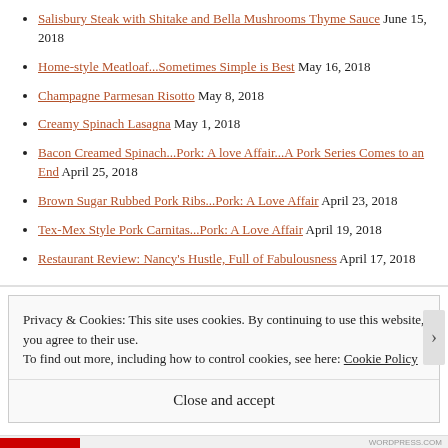Salisbury Steak with Shitake and Bella Mushrooms Thyme Sauce June 15, 2018
Home-style Meatloaf...Sometimes Simple is Best May 16, 2018
Champagne Parmesan Risotto May 8, 2018
Creamy Spinach Lasagna May 1, 2018
Bacon Creamed Spinach...Pork: A love Affair...A Pork Series Comes to an End April 25, 2018
Brown Sugar Rubbed Pork Ribs...Pork: A Love Affair April 23, 2018
Tex-Mex Style Pork Carnitas...Pork: A Love Affair April 19, 2018
Restaurant Review: Nancy's Hustle, Full of Fabulousness April 17, 2018
Privacy & Cookies: This site uses cookies. By continuing to use this website, you agree to their use. To find out more, including how to control cookies, see here: Cookie Policy
Close and accept